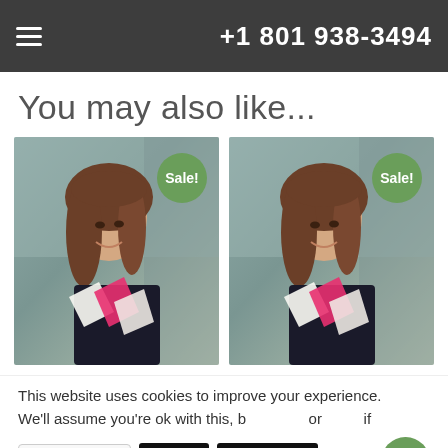+1 801 938-3494
You may also like...
[Figure (photo): Woman smiling with shopping bags, Sale! badge overlay]
[Figure (photo): Woman smiling with shopping bags, Sale! badge overlay]
This website uses cookies to improve your experience. We'll assume you're ok with this, b or if
Ask us
Reject
Read More
English